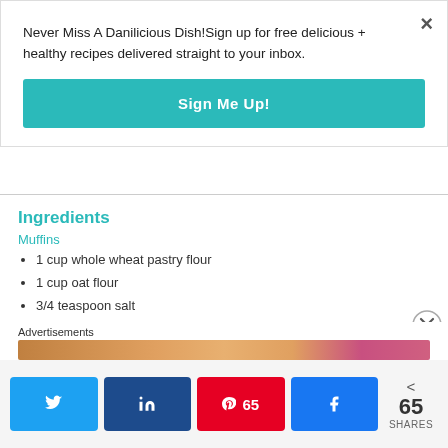Never Miss A Danilicious Dish!Sign up for free delicious + healthy recipes delivered straight to your inbox.
Sign Me Up!
Ingredients
Muffins
1 cup whole wheat pastry flour
1 cup oat flour
3/4 teaspoon salt
2 teaspoons baking powder
1/4 cup almond milk
¼ cup melted butter
½ cup honey
¼ cup cane sugar
2 eggs, room temperature
Advertisements
65 SHARES